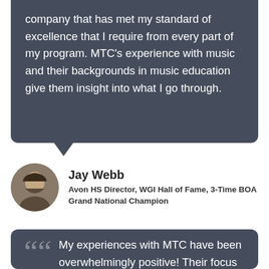company that has met my standard of excellence that I require from every part of my program. MTC's experience with music and their backgrounds in music education give them insight into what I go through.
Jay Webb
Avon HS Director, WGI Hall of Fame, 3-Time BOA Grand National Champion
My experiences with MTC have been overwhelmingly positive! Their focus on providing epic experiences for students, their attention to detail, and